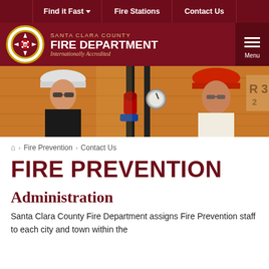Find it Fast | Fire Stations | Contact Us
[Figure (logo): Santa Clara County Fire Department logo with header bar showing badge, department name 'SANTA CLARA COUNTY FIRE DEPARTMENT Internationally Accredited', and hamburger menu button]
[Figure (photo): Two workers wearing hard hats (one white, one red) inspecting fire sprinkler pipes and equipment in a building under construction]
Home > Fire Prevention > Contact Us
FIRE PREVENTION
Administration
Santa Clara County Fire Department assigns Fire Prevention staff to each city and town within the